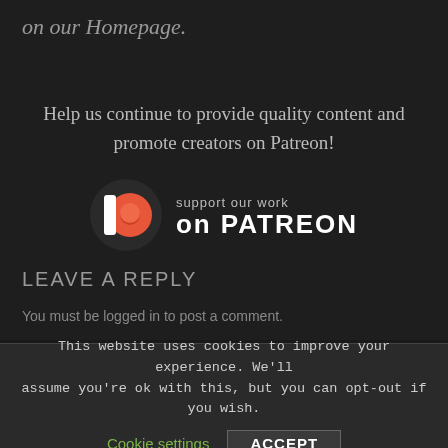on our Homepage.
Help us continue to provide quality content and promote creators on Patreon!
[Figure (logo): Patreon logo with circular icon showing a white 'P' shape and orange circle on dark background, next to text reading 'support our work on PATREON']
LEAVE A REPLY
You must be logged in to post a comment.
This website uses cookies to improve your experience. We'll assume you're ok with this, but you can opt-out if you wish.
Cookie settings   ACCEPT